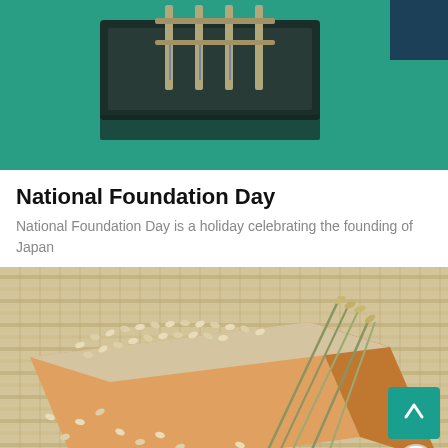[Figure (photo): Top portion of a photo showing a traditional Japanese ceremonial object or torii-like wooden structure on a black tray against a teal/green background]
National Foundation Day
National Foundation Day is a holiday celebrating the founding of Japan
[Figure (photo): Close-up photo of rice grains piled in a traditional Japanese wooden masu box with rice stalks, on a woven bamboo mat background]